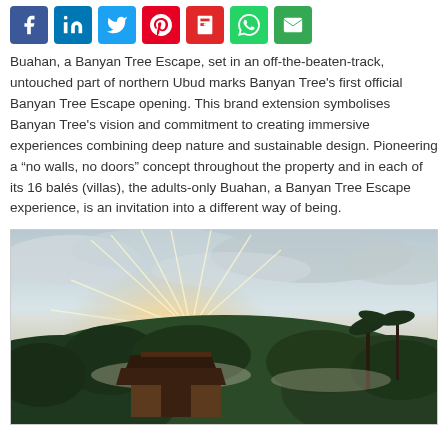[Figure (other): Social media share buttons: Facebook (blue), LinkedIn (blue), Twitter (light blue), Pinterest (red), Flipboard (red), WhatsApp (green), Email (green)]
Buahan, a Banyan Tree Escape, set in an off-the-beaten-track, untouched part of northern Ubud marks Banyan Tree’s first official Banyan Tree Escape opening. This brand extension symbolises Banyan Tree's vision and commitment to creating immersive experiences combining deep nature and sustainable design. Pioneering a “no walls, no doors” concept throughout the property and in each of its 16 balés (villas), the adults-only Buahan, a Banyan Tree Escape experience, is an invitation into a different way of being.
[Figure (photo): Aerial/landscape photo of Buahan, a Banyan Tree Escape resort nestled in lush tropical jungle in northern Ubud, Bali, with sunrays breaking through clouds over the treetops and a traditional Balinese wooden structure visible below.]